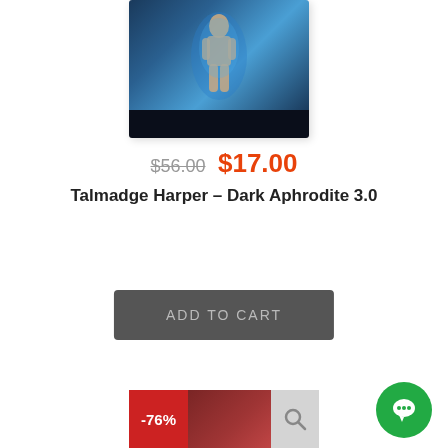[Figure (photo): Book cover product image card with dark blue/teal figure silhouette against blue background, with dark bottom bar, displayed with white card shadow]
$56.00  $17.00
Talmadge Harper – Dark Aphrodite 3.0
ADD TO CART
[Figure (photo): Second product card showing a -76% discount badge on a dark red/maroon book cover image with a search icon overlay]
[Figure (other): Green circular chat/messaging widget button in bottom right corner]